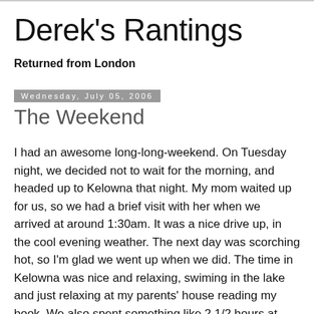Derek's Rantings
Returned from London
Wednesday, July 05, 2006
The Weekend
I had an awesome long-long-weekend. On Tuesday night, we decided not to wait for the morning, and headed up to Kelowna that night. My mom waited up for us, so we had a brief visit with her when we arrived at around 1:30am. It was a nice drive up, in the cool evening weather. The next day was scorching hot, so I'm glad we went up when we did. The time in Kelowna was nice and relaxing, swiming in the lake and just relaxing at my parents' house reading my book. We also spent something like 2 1/2 hours at Value Village buying clothes. I got lots of great summer shirts, and a couple of pairs of cargos. I was silly and didn't get any shorts though. I also got a few nice long-sleved shirts for work,